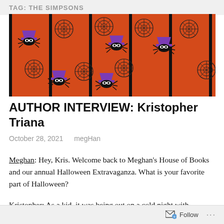TAG: THE SIMPSONS
[Figure (illustration): Orange and black Halloween-themed repeating pattern featuring cartoon spiders wearing purple witch hats with spider webs on an orange background with black vertical stripes.]
AUTHOR INTERVIEW: Kristopher Triana
October 28, 2021   megHan
Meghan: Hey, Kris. Welcome back to Meghan's House of Books and our annual Halloween Extravaganza. What is your favorite part of Halloween?
Kristopher: As a kid, it was being out on a cold night with
Follow